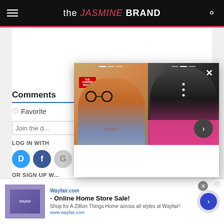the JASMINE BRAND
Comments
♡ Favorite
Join the d...
LOG IN WITH
OR SIGN UP W...
Name
[Figure (screenshot): Overlay panel showing two photos: a man wearing glasses and a hat (left), and a woman in a black top with pink fabric (right). The overlay has a close (X) button and a next arrow button.]
[Figure (screenshot): Advertisement banner for Wayfair.com - Online Home Store Sale. Text: Shop for A Zillion Things Home across all styles at Wayfair! www.wayfair.com]